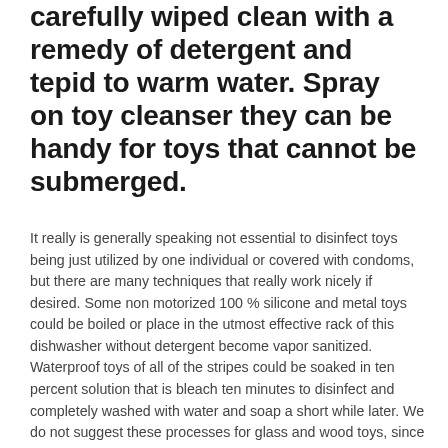carefully wiped clean with a remedy of detergent and tepid to warm water. Spray on toy cleanser they can be handy for toys that cannot be submerged.
It really is generally speaking not essential to disinfect toys being just utilized by one individual or covered with condoms, but there are many techniques that really work nicely if desired. Some non motorized 100 % silicone and metal toys could be boiled or place in the utmost effective rack of this dishwasher without detergent become vapor sanitized. Waterproof toys of all of the stripes could be soaked in ten percent solution that is bleach ten minutes to disinfect and completely washed with water and soap a short while later. We do not suggest these processes for glass and wood toys, since they are more delicate and susceptible to breakage.